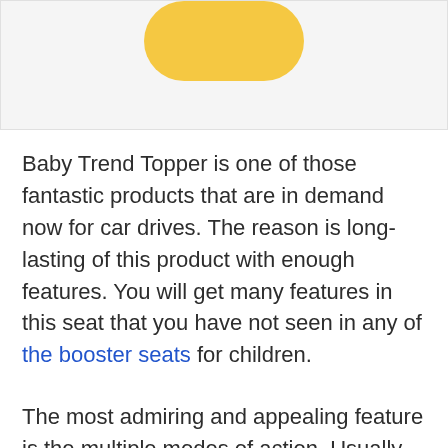[Figure (photo): Partial view of yellow rounded shape/product image at the top of the page on a light grey background]
Baby Trend Topper is one of those fantastic products that are in demand now for car drives. The reason is long-lasting of this product with enough features. You will get many features in this seat that you have not seen in any of the booster seats for children.
The most admiring and appealing feature is the multiple modes of action. Usually, you will see two ways in which you can use a seat. But this is the only seat that you can